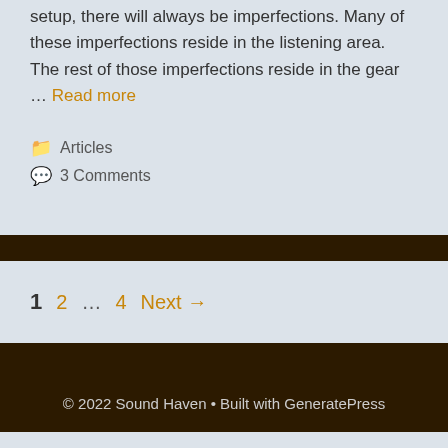setup, there will always be imperfections. Many of these imperfections reside in the listening area. The rest of those imperfections reside in the gear … Read more
Articles
3 Comments
1  2  …  4  Next →
© 2022 Sound Haven • Built with GeneratePress